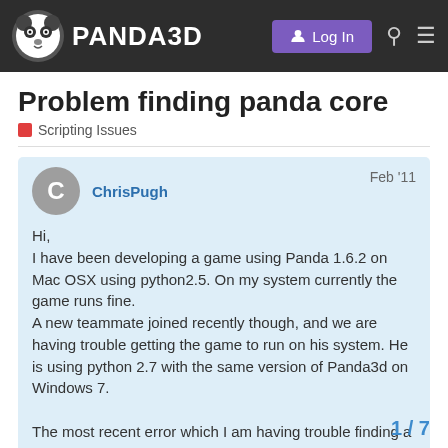PANDA3D — Log In
Problem finding panda core
Scripting Issues
ChrisPugh  Feb '11

Hi,
I have been developing a game using Panda 1.6.2 on Mac OSX using python2.5. On my system currently the game runs fine.
A new teammate joined recently though, and we are having trouble getting the game to run on his system. He is using python 2.7 with the same version of Panda3d on Windows 7.

The most recent error which I am having trouble finding a workaround to is:
1 / 7